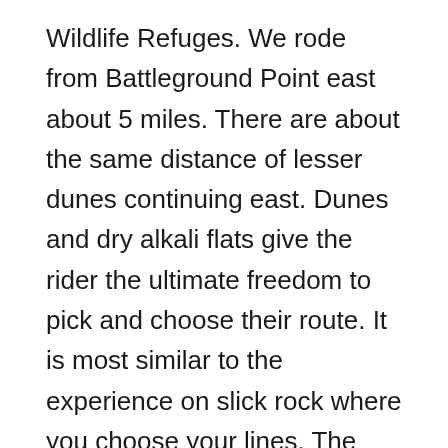Wildlife Refuges. We rode from Battleground Point east about 5 miles. There are about the same distance of lesser dunes continuing east. Dunes and dry alkali flats give the rider the ultimate freedom to pick and choose their route. It is most similar to the experience on slick rock where you choose your lines. The dune surface seemed well packed under my 4.8 inch wide tires. It was the same for Pete with his 4 inch tires under him. Pete pointed out the two types of sand, a coarser more firmly packed sand and a finer looser packed silt. Sometimes there were invisible patches of the two and you could feel your bike going fast and slow. We came across a third distinct sand that was very coarse black